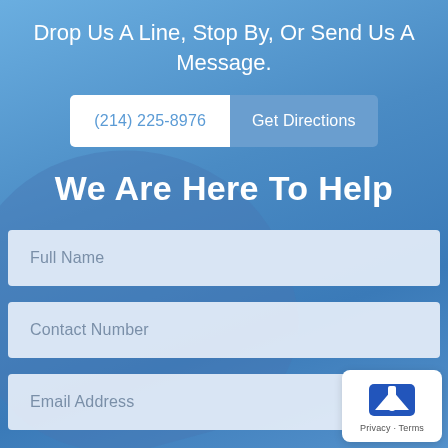Drop Us A Line, Stop By, Or Send Us A Message.
(214) 225-8976
Get Directions
We Are Here To Help
Full Name
Contact Number
Email Address
Privacy · Terms